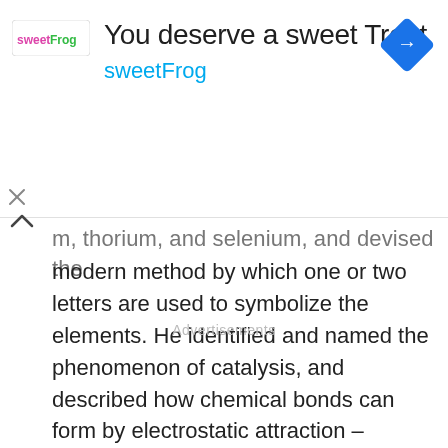[Figure (other): Advertisement banner for sweetFrog frozen yogurt with headline 'You deserve a sweet Treat', sweetFrog brand name in blue, logo on left, blue diamond navigation icon on right]
m, thorium, and selenium, and devised the modern method by which one or two letters are used to symbolize the elements. He identified and named the phenomenon of catalysis, and described how chemical bonds can form by electrostatic attraction – nowadays called ionic bonding.
Advertisements